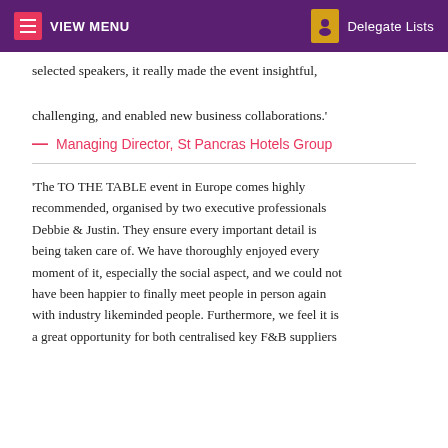VIEW MENU   Delegate Lists
selected speakers, it really made the event insightful, challenging, and enabled new business collaborations.'
— Managing Director, St Pancras Hotels Group
'The TO THE TABLE event in Europe comes highly recommended, organised by two executive professionals Debbie & Justin. They ensure every important detail is being taken care of. We have thoroughly enjoyed every moment of it, especially the social aspect, and we could not have been happier to finally meet people in person again with industry likeminded people. Furthermore, we feel it is a great opportunity for both centralised key F&B suppliers